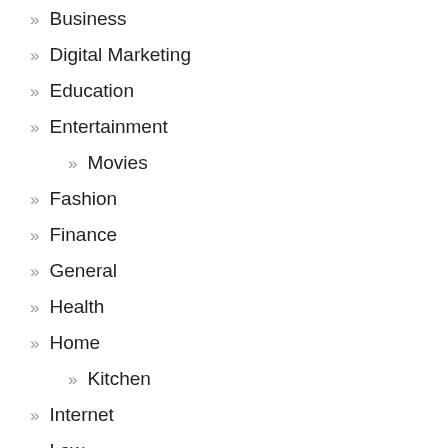Business
Digital Marketing
Education
Entertainment
Movies
Fashion
Finance
General
Health
Home
Kitchen
Internet
Law